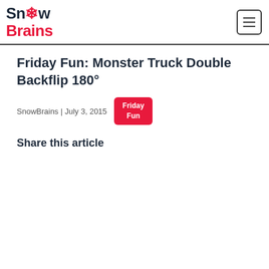SnowBrains
Friday Fun: Monster Truck Double Backflip 180°
SnowBrains | July 3, 2015
Friday Fun
Share this article